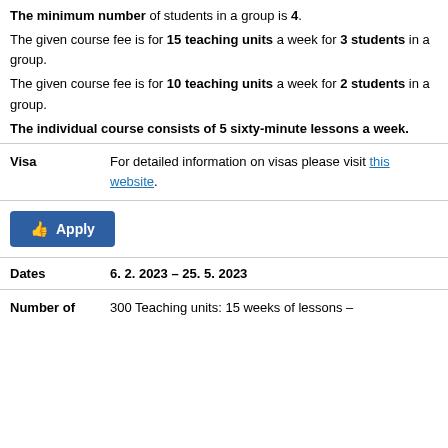The minimum number of students in a group is 4. The given course fee is for 15 teaching units a week for 3 students in a group. The given course fee is for 10 teaching units a week for 2 students in a group. The individual course consists of 5 sixty-minute lessons a week.
Visa: For detailed information on visas please visit this website.
Apply
Dates: 6. 2. 2023 – 25. 5. 2023
Number of: 300 Teaching units: 15 weeks of lessons –